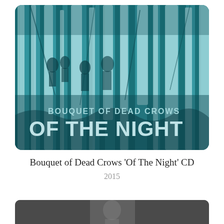[Figure (illustration): Album cover artwork for Bouquet of Dead Crows 'Of The Night' CD. Dark teal/blue-green forest scene with tall pale tree trunks and shadowy human figures partially hidden among the trees. Text reads 'BOUQUET OF DEAD CROWS' in smaller letters above 'OF THE NIGHT' in large bold letters at the bottom of the image.]
Bouquet of Dead Crows 'Of The Night' CD
2015
[Figure (photo): Partial view of a second album or product image, only the top portion visible at the bottom of the page. Dark grey/charcoal background with a faint figure visible.]